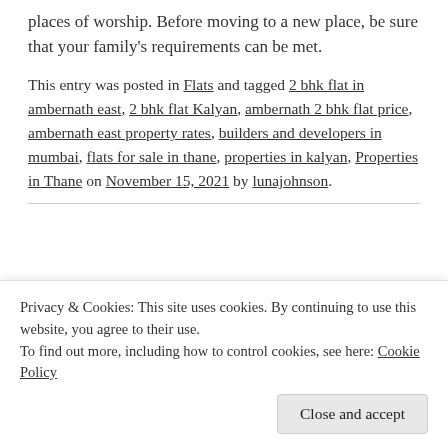places of worship. Before moving to a new place, be sure that your family's requirements can be met.
This entry was posted in Flats and tagged 2 bhk flat in ambernath east, 2 bhk flat Kalyan, ambernath 2 bhk flat price, ambernath east property rates, builders and developers in mumbai, flats for sale in thane, properties in kalyan, Properties in Thane on November 15, 2021 by lunajohnson.
[Figure (photo): Partial image strip showing sky and building, partially visible at bottom of page]
Privacy & Cookies: This site uses cookies. By continuing to use this website, you agree to their use.
To find out more, including how to control cookies, see here: Cookie Policy
Close and accept